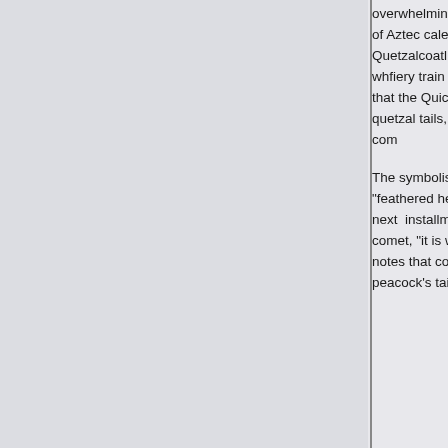overwhelming disaster — an event endlessly repeated in sacrificial rites and supplying the cornerstone of Aztec calendar rituals and astronomical symbolism. In a pervasive version of the myth, at the death of Quetzalcoatl the god's heart or soul rose in the sky as a great spark or ember, trailing smoke and fire — a "star" whose fiery train the Aztecs portrayed as the streaming of a quetzal-bird. Was this flaming star a "comet"? One notes that the Quiché Maya called a comet ch'umil, "tail of the star," and Aztec artists often drew comets as stars with quetzal tails, the long and luminous plumes of the quetzal providing a particularly well-suited hieroglyph for a comet.
The symbolism accords well with that of other peoples. The Pawnee gave to the comet the name u pirikis kuhka, "feathered headdress" (an appellation that proves telling; see later discussion of the plumed headdress in our next installment). In Africa, the streaming comet's tail was identified with the feathers of the nightjar, and the natives called a comet, "it is wearing streaming feathers." Astronomer Carl Sagan, in his review of worldwide comet motifs, notes that comets are called "feathered stars" and "stars with long feathers." Germanic races called a comet the peacock's tail, while in China a comet was seen as both a peacock's tail and a pheasant's tail.